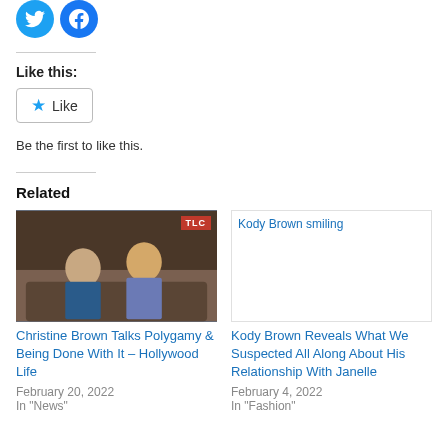[Figure (illustration): Two social share buttons: Twitter (blue bird icon) and Facebook (blue f icon), circular]
Like this:
[Figure (illustration): Like button with blue star icon and 'Like' text, bordered box]
Be the first to like this.
Related
[Figure (photo): Christine Brown and Kody Brown sitting on a couch, TLC badge in upper right corner]
Christine Brown Talks Polygamy & Being Done With It – Hollywood Life
February 20, 2022
In "News"
[Figure (illustration): Broken image placeholder with alt text: Kody Brown smiling]
Kody Brown Reveals What We Suspected All Along About His Relationship With Janelle
February 4, 2022
In "Fashion"